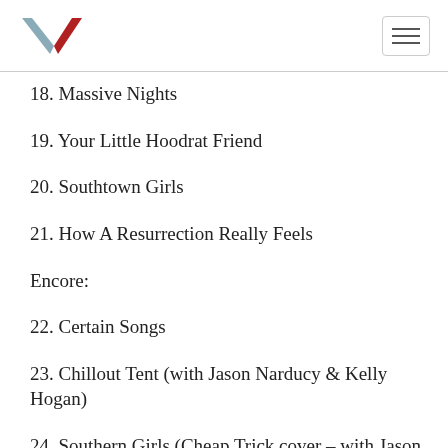Logo and navigation menu
18. Massive Nights
19. Your Little Hoodrat Friend
20. Southtown Girls
21. How A Resurrection Really Feels
Encore:
22. Certain Songs
23. Chillout Tent (with Jason Narducy & Kelly Hogan)
24. Southern Girls (Cheap Trick cover – with Jason Narducy